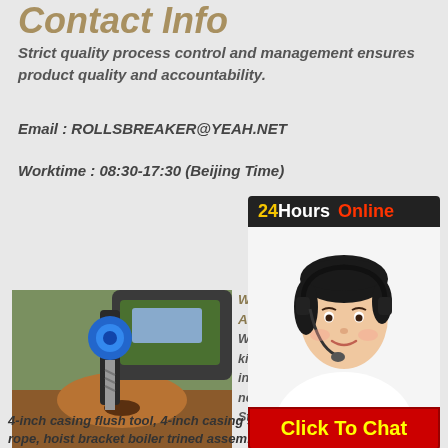Contact Info
Strict quality process control and management ensures product quality and accountability.
Email : ROLLSBREAKER@YEAH.NET
Worktime : 08:30-17:30 (Beijing Time)
[Figure (infographic): 24Hours Online chat widget with customer service representative photo and Click To Chat button]
[Figure (photo): A drilling machine/water well rig drilling into earth, creating a mound of reddish-brown dirt]
Water... And Ac... We call our kits "Mis... include a... necessities for keeping Lone Star water well rigs drilling: a
4-inch casing flush tool, 4-inch casing slips, a 3/8-inch hollow braid rope, hoist bracket boiler trined assemblies, a PVC boiler, hand latch